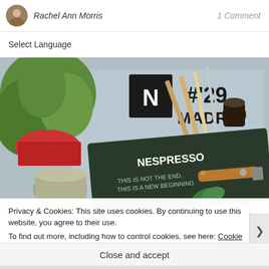Rachel Ann Morris    1 Comment
Select Language
[Figure (photo): Overhead flat-lay photo showing a Nespresso branded booklet reading 'THIS IS NOT THE END. THIS IS A NEW BEGINNING', a succulent plant, coffee capsules, a Victorinox pocket knife, pencils, a metal cup, and a Nespresso magazine showing '#29 MADRID' on a blue surface.]
Privacy & Cookies: This site uses cookies. By continuing to use this website, you agree to their use.
To find out more, including how to control cookies, see here: Cookie Policy
Close and accept